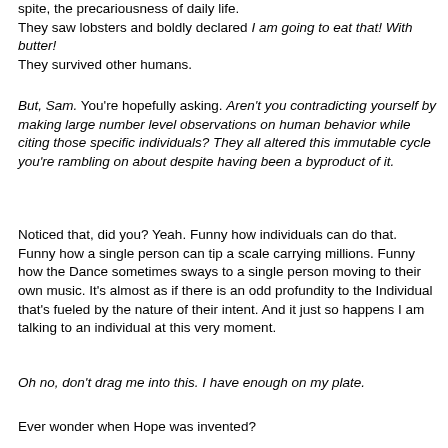spite, the precariousness of daily life.
They saw lobsters and boldly declared I am going to eat that! With butter!
They survived other humans.
But, Sam. You're hopefully asking. Aren't you contradicting yourself by making large number level observations on human behavior while citing those specific individuals? They all altered this immutable cycle you're rambling on about despite having been a byproduct of it.
Noticed that, did you? Yeah. Funny how individuals can do that. Funny how a single person can tip a scale carrying millions. Funny how the Dance sometimes sways to a single person moving to their own music. It's almost as if there is an odd profundity to the Individual that's fueled by the nature of their intent. And it just so happens I am talking to an individual at this very moment.
Oh no, don't drag me into this. I have enough on my plate.
Ever wonder when Hope was invented?